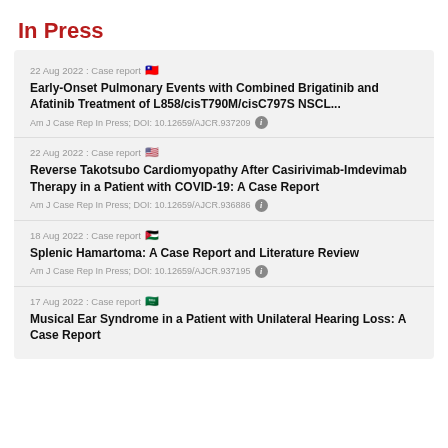In Press
22 Aug 2022 : Case report
Early-Onset Pulmonary Events with Combined Brigatinib and Afatinib Treatment of L858/cisT790M/cisC797S NSCL...
Am J Case Rep In Press; DOI: 10.12659/AJCR.937209
22 Aug 2022 : Case report
Reverse Takotsubo Cardiomyopathy After Casirivimab-Imdevimab Therapy in a Patient with COVID-19: A Case Report
Am J Case Rep In Press; DOI: 10.12659/AJCR.936886
18 Aug 2022 : Case report
Splenic Hamartoma: A Case Report and Literature Review
Am J Case Rep In Press; DOI: 10.12659/AJCR.937195
17 Aug 2022 : Case report
Musical Ear Syndrome in a Patient with Unilateral Hearing Loss: A Case Report